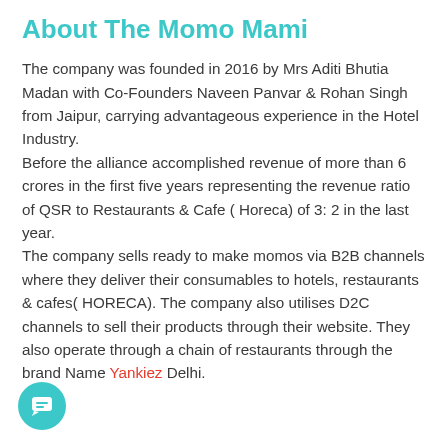About The Momo Mami
The company was founded in 2016 by Mrs Aditi Bhutia Madan with Co-Founders Naveen Panvar & Rohan Singh from Jaipur, carrying advantageous experience in the Hotel Industry.
Before the alliance accomplished revenue of more than 6 crores in the first five years representing the revenue ratio of QSR to Restaurants & Cafe ( Horeca) of 3: 2 in the last year.
The company sells ready to make momos via B2B channels where they deliver their consumables to hotels, restaurants & cafes( HORECA). The company also utilises D2C channels to sell their products through their website. They also operate through a chain of restaurants through the brand Name Yankiez Delhi.